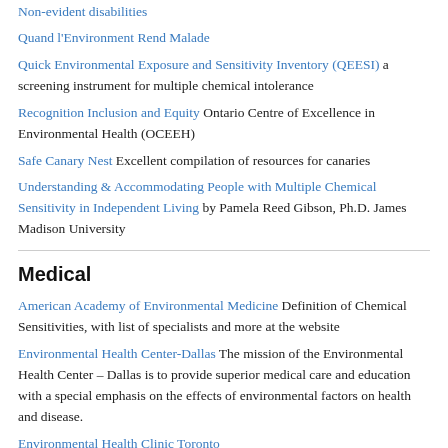Non-evident disabilities
Quand l'Environment Rend Malade
Quick Environmental Exposure and Sensitivity Inventory (QEESI) a screening instrument for multiple chemical intolerance
Recognition Inclusion and Equity Ontario Centre of Excellence in Environmental Health (OCEEH)
Safe Canary Nest Excellent compilation of resources for canaries
Understanding & Accommodating People with Multiple Chemical Sensitivity in Independent Living by Pamela Reed Gibson, Ph.D. James Madison University
Medical
American Academy of Environmental Medicine Definition of Chemical Sensitivities, with list of specialists and more at the website
Environmental Health Center-Dallas The mission of the Environmental Health Center – Dallas is to provide superior medical care and education with a special emphasis on the effects of environmental factors on health and disease.
Environmental Health Clinic Toronto